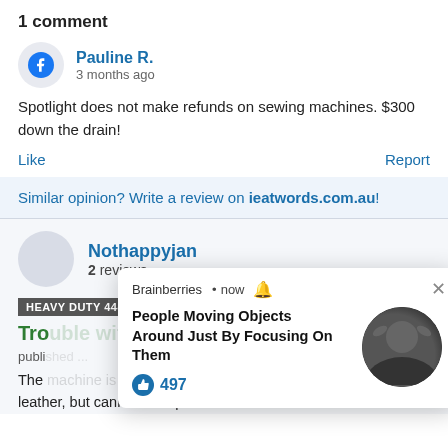1 comment
Pauline R.
3 months ago
Spotlight does not make refunds on sewing machines. $300 down the drain!
Like
Report
Similar opinion? Write a review on ieatwords.com.au!
Nothappyjan
2 reviews
HEAVY DUTY 444
Tro... ation
publi...
The ...supposed to be able to... leather, but cannot. It skips stitches and sews inconsistent
[Figure (screenshot): Brainberries notification popup: 'People Moving Objects Around Just By Focusing On Them' with 497 likes and a circular photo of a man with arms raised]